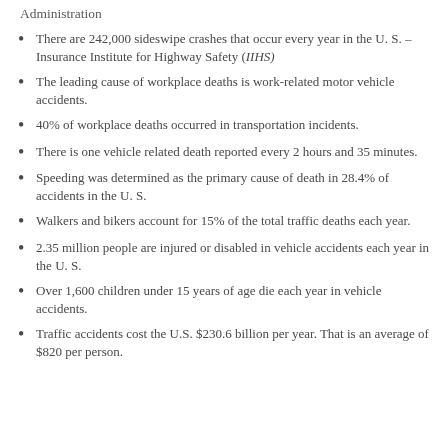Administration
There are 242,000 sideswipe crashes that occur every year in the U. S. – Insurance Institute for Highway Safety (IIHS)
The leading cause of workplace deaths is work-related motor vehicle accidents.
40% of workplace deaths occurred in transportation incidents.
There is one vehicle related death reported every 2 hours and 35 minutes.
Speeding was determined as the primary cause of death in 28.4% of accidents in the U. S.
Walkers and bikers account for 15% of the total traffic deaths each year.
2.35 million people are injured or disabled in vehicle accidents each year in the U. S.
Over 1,600 children under 15 years of age die each year in vehicle accidents.
Traffic accidents cost the U.S. $230.6 billion per year. That is an average of $820 per person.